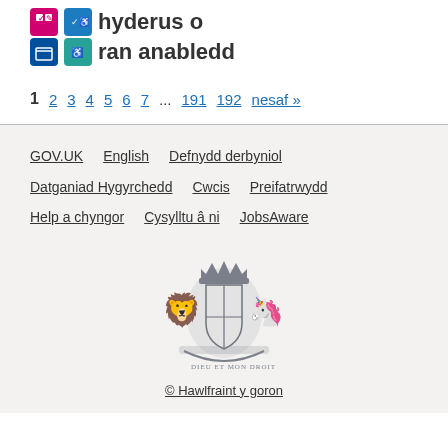[Figure (logo): Disability Confident employer logo with pink and blue/teal icon boxes]
hyderus o ran anabledd
1 2 3 4 5 6 7 ... 191 192 nesaf »
GOV.UK  English  Defnydd derbyniol  Datganiad Hygyrchedd  Cwcis  Preifatrwydd  Help a chyngor  Cysylltu â ni  JobsAware
[Figure (logo): UK Government Royal Coat of Arms crest in grey]
© Hawlfraint y goron